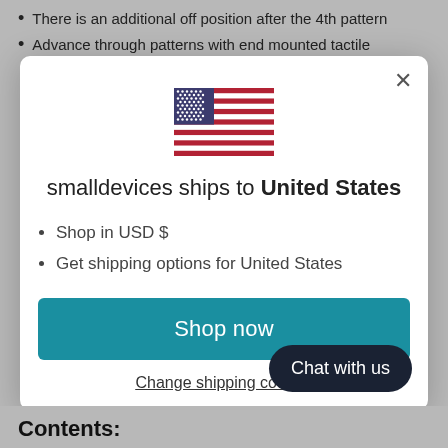There is an additional off position after the 4th pattern
Advance through patterns with end mounted tactile
[Figure (screenshot): Modal dialog showing a US flag, text 'smalldevices ships to United States', bullet points for USD and shipping options, a teal 'Shop now' button, a 'Change shipping country' link, and a 'Chat with us' dark button.]
Contents: